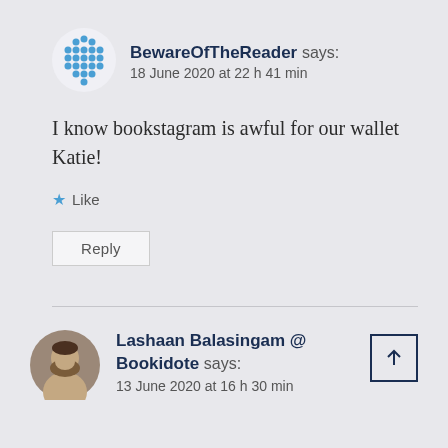[Figure (illustration): Blue dotted/pixel pattern avatar icon for BewareOfTheReader]
BewareOfTheReader says:
18 June 2020 at 22 h 41 min
I know bookstagram is awful for our wallet Katie!
★ Like
Reply
[Figure (photo): Profile photo of Lashaan Balasingam, a person with a beard]
Lashaan Balasingam @ Bookidote says:
13 June 2020 at 16 h 30 min